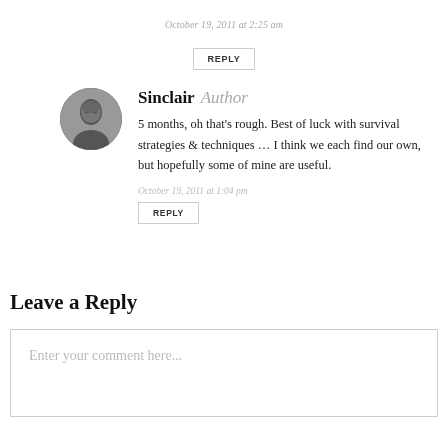October 19, 2011 at 2:25 am
REPLY
Sinclair Author
5 months, oh that's rough. Best of luck with survival strategies & techniques … I think we each find our own, but hopefully some of mine are useful.
October 19, 2011 at 1:04 pm
REPLY
Leave a Reply
Enter your comment here...